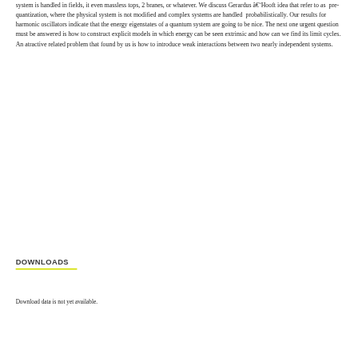system is handled in fields, it even massless tops, 2 branes, or whatever. We discuss Gerardus â€˜Hooft idea that refer to as pre-quantization, where the physical system is not modified and complex systems are handled probabilistically. Our results for harmonic oscillators indicate that the energy eigenstates of a quantum system are going to be nice. The next one urgent question must be answered is how to construct explicit models in which energy can be seen extrinsic and how can we find its limit cycles. An atractive related problem that found by us is how to introduce weak interactions between two nearly independent systems.
DOWNLOADS
Download data is not yet available.